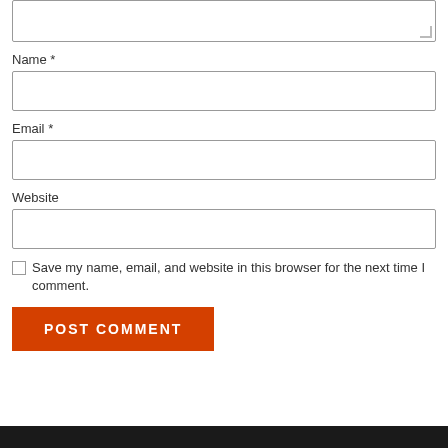[Figure (screenshot): Textarea input box (top of a comment form), partially visible]
Name *
[Figure (screenshot): Name input text field]
Email *
[Figure (screenshot): Email input text field]
Website
[Figure (screenshot): Website input text field]
Save my name, email, and website in this browser for the next time I comment.
Post Comment